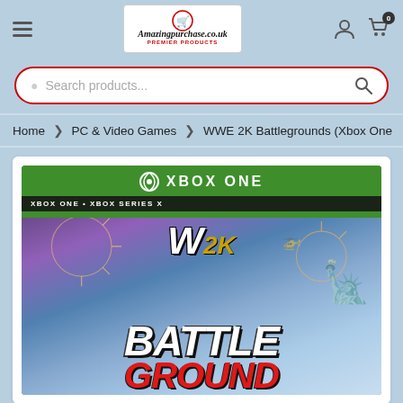[Figure (screenshot): E-commerce website header with hamburger menu, Amazingpurchase.co.uk logo, user and cart icons]
[Figure (screenshot): Search bar with red border and placeholder text 'Search products...' and search icon]
Home > PC & Video Games > WWE 2K Battlegrounds (Xbox One
[Figure (photo): WWE 2K Battlegrounds Xbox One game box art showing Xbox One branding, WWE 2K logo, and Battlegrounds title text with wrestlers and fireworks]